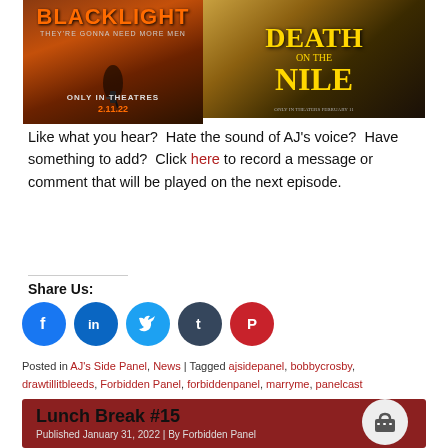[Figure (photo): Two movie posters side by side: Blacklight (left, orange/dark) and Death on the Nile (right, golden/dark)]
Like what you hear?  Hate the sound of AJ's voice?  Have something to add?  Click here to record a message or comment that will be played on the next episode.
Share Us:
[Figure (infographic): Social media share icons: Facebook, LinkedIn, Twitter, Tumblr, Pinterest]
Posted in AJ's Side Panel, News | Tagged ajsidepanel, bobbycrosby, drawtillitbleeds, Forbidden Panel, forbiddenpanel, marryme, panelcast
Lunch Break #15
Published January 31, 2022 | By Forbidden Panel